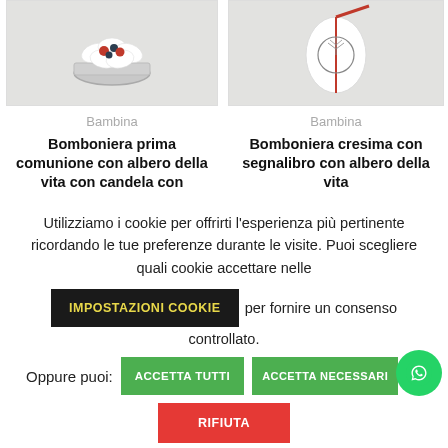[Figure (photo): Product image left: Bomboniera with silver bowl and decorative berries/flowers on white background]
[Figure (photo): Product image right: Bomboniera cresima with bookmark and tree of life decoration on white background]
Bambina
Bambina
Bomboniera prima comunione con albero della vita con candela con
Bomboniera cresima con segnalibro con albero della vita
Utilizziamo i cookie per offrirti l'esperienza più pertinente ricordando le tue preferenze durante le visite. Puoi scegliere quali cookie accettare nelle IMPOSTAZIONI COOKIE per fornire un consenso controllato.
Oppure puoi:
ACCETTA TUTTI
ACCETTA NECESSARI
RIFIUTA